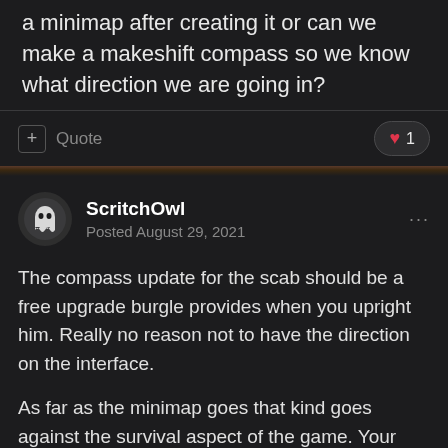a minimap after creating it or can we make a makeshift compass so we know what direction we are going in?
Quote
1
ScritchOwl
Posted August 29, 2021
The compass update for the scab should be a free upgrade burgle provides when you upright him. Really no reason not to have the direction on the interface.
As far as the minimap goes that kind goes against the survival aspect of the game. Your supposed to be using the landmarks of the game for navigation not having it provided to you as a screen overlay.